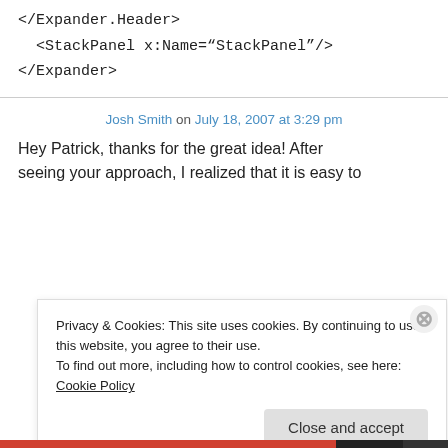</Expander.Header>
<StackPanel x:Name="StackPanel"/>
</Expander>
Josh Smith on July 18, 2007 at 3:29 pm
Hey Patrick, thanks for the great idea! After seeing your approach, I realized that it is easy to
Privacy & Cookies: This site uses cookies. By continuing to use this website, you agree to their use.
To find out more, including how to control cookies, see here: Cookie Policy